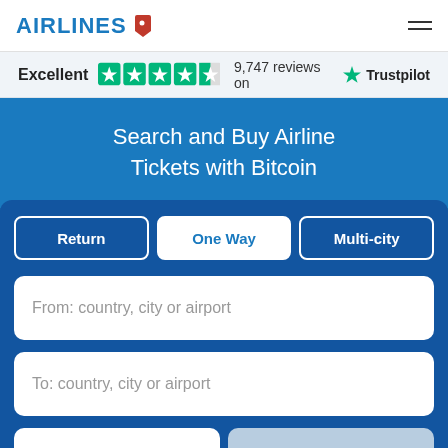AIRLINES
Excellent  9,747 reviews on Trustpilot
Search and Buy Airline Tickets with Bitcoin
Return | One Way | Multi-city
From: country, city or airport
To: country, city or airport
08/31/2022  (One way)